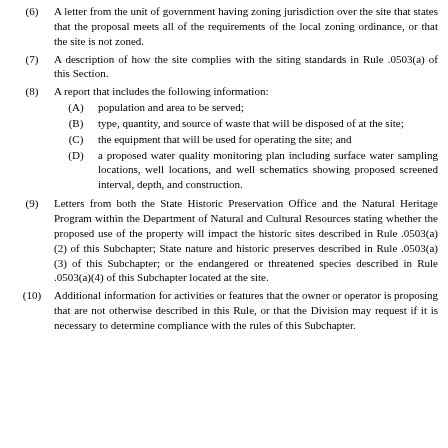(6) A letter from the unit of government having zoning jurisdiction over the site that states that the proposal meets all of the requirements of the local zoning ordinance, or that the site is not zoned.
(7) A description of how the site complies with the siting standards in Rule .0503(a) of this Section.
(8) A report that includes the following information: (A) population and area to be served; (B) type, quantity, and source of waste that will be disposed of at the site; (C) the equipment that will be used for operating the site; and (D) a proposed water quality monitoring plan including surface water sampling locations, well locations, and well schematics showing proposed screened interval, depth, and construction.
(9) Letters from both the State Historic Preservation Office and the Natural Heritage Program within the Department of Natural and Cultural Resources stating whether the proposed use of the property will impact the historic sites described in Rule .0503(a)(2) of this Subchapter; State nature and historic preserves described in Rule .0503(a)(3) of this Subchapter; or the endangered or threatened species described in Rule .0503(a)(4) of this Subchapter located at the site.
(10) Additional information for activities or features that the owner or operator is proposing that are not otherwise described in this Rule, or that the Division may request if it is necessary to determine compliance with the rules of this Subchapter.